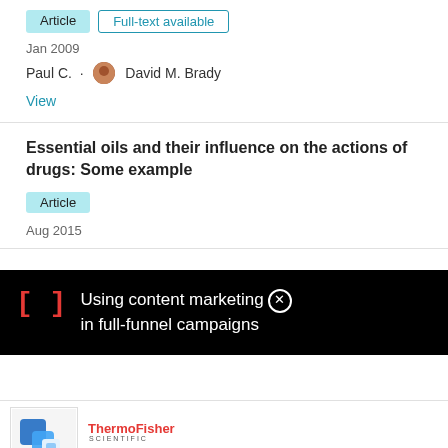Article   Full-text available
Jan 2009
Paul C. · David M. Brady
View
Essential oils and their influence on the actions of drugs: Some example
Article
Aug 2015
[Figure (screenshot): Black overlay banner with red bracket symbol and white text: Using content marketing in full-funnel campaigns, with close button]
[Figure (logo): ThermoFisher Scientific logo with dialysis product image]
Dialysis products selection guide